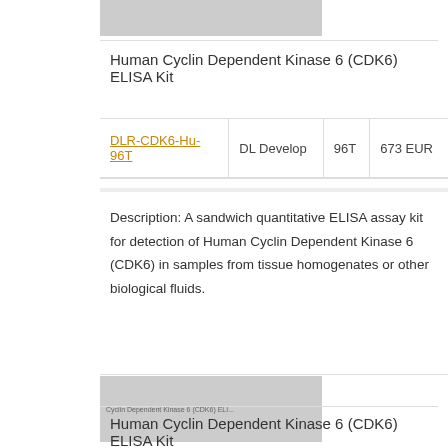[Figure (photo): Gray placeholder image at top]
Human Cyclin Dependent Kinase 6 (CDK6) ELISA Kit
|  |  |  |  |
| --- | --- | --- | --- |
| DLR-CDK6-Hu-96T | DL Develop | 96T | 673 EUR |
Description: A sandwich quantitative ELISA assay kit for detection of Human Cyclin Dependent Kinase 6 (CDK6) in samples from tissue homogenates or other biological fluids.
[Figure (photo): Gray placeholder image with text: Cyclin Dependent Kinase 6 (CDK6) ELIS...]
Human Cyclin Dependent Kinase 6 (CDK6) ELISA Kit